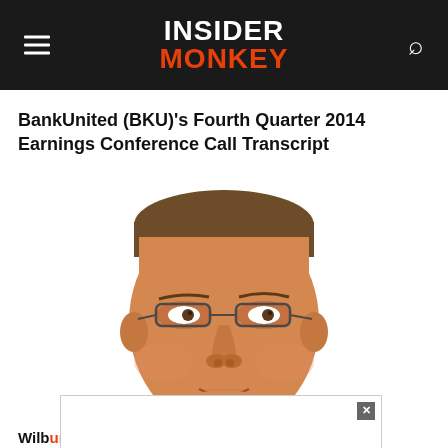INSIDER MONKEY
BankUnited (BKU)'s Fourth Quarter 2014 Earnings Conference Call Transcript
[Figure (illustration): Illustrated caricature portrait of a middle-aged man with glasses, wearing a suit with blue shirt, warm skin tones, digital painting style]
Wilb...